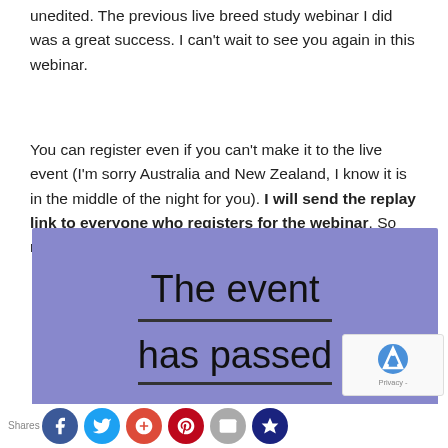unedited. The previous live breed study webinar I did was a great success. I can't wait to see you again in this webinar.
You can register even if you can't make it to the live event (I'm sorry Australia and New Zealand, I know it is in the middle of the night for you). I will send the replay link to everyone who registers for the webinar. So register now!
[Figure (other): Purple/lavender banner with large text reading 'The event has passed', each line underlined]
[Figure (other): Social sharing bar with Shares label and buttons: Facebook (blue), Twitter (light blue), Google+ (red), Pinterest (dark red), Email (gray), Crown/other (dark blue). reCAPTCHA widget overlaid at bottom right.]